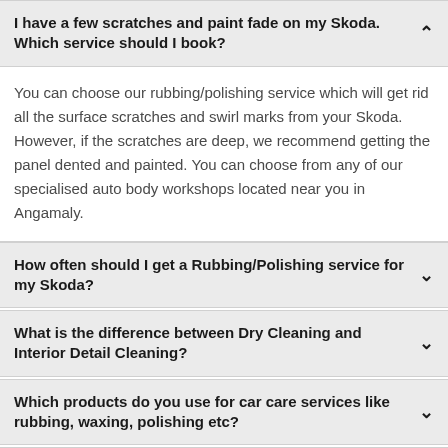I have a few scratches and paint fade on my Skoda. Which service should I book?
You can choose our rubbing/polishing service which will get rid all the surface scratches and swirl marks from your Skoda. However, if the scratches are deep, we recommend getting the panel dented and painted. You can choose from any of our specialised auto body workshops located near you in Angamaly.
How often should I get a Rubbing/Polishing service for my Skoda?
What is the difference between Dry Cleaning and Interior Detail Cleaning?
Which products do you use for car care services like rubbing, waxing, polishing etc?